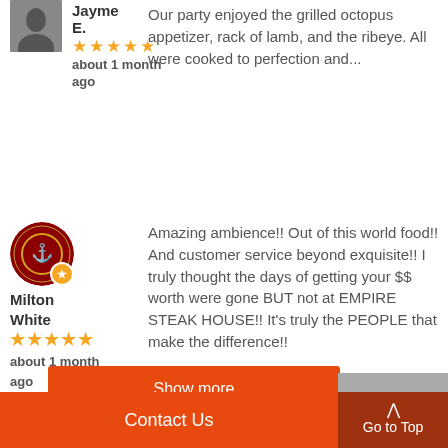[Figure (photo): Profile photo of Jayme E., a person in dark clothing]
Jayme E.
★★★★★
about 1 month ago
Our party enjoyed the grilled octopus appetizer, rack of lamb, and the ribeye. All were cooked to perfection and...
[Figure (photo): Profile photo of Milton White with military emblem badge]
Milton White
★★★★★
about 1 month ago
Amazing ambience!! Out of this world food!! And customer service beyond exquisite!! I truly thought the days of getting your $$ worth were gone BUT not at EMPIRE STEAK HOUSE!! It's truly the PEOPLE that make the difference!!
Show more
Contact Us
Go to Top